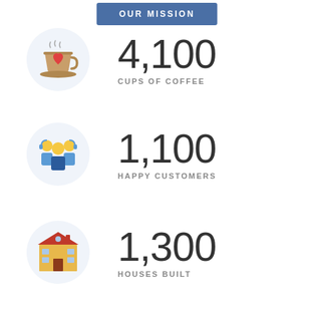OUR MISSION
[Figure (illustration): Coffee cup with heart icon in a light blue circle]
4,100
CUPS OF COFFEE
[Figure (illustration): Group of people/customers icon in a light blue circle]
1,100
HAPPY CUSTOMERS
[Figure (illustration): Building/house icon in a light blue circle]
1,300
HOUSES BUILT